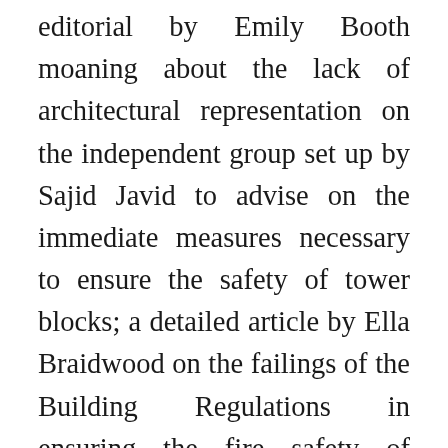editorial by Emily Booth moaning about the lack of architectural representation on the independent group set up by Sajid Javid to advise on the immediate measures necessary to ensure the safety of tower blocks; a detailed article by Ella Braidwood on the failings of the Building Regulations in ensuring the fire safety of cladding added to tower blocks; and an opinion piece by Catherine Slessor looking at the fire in the context of changing attitudes to council housing in the UK; plus a bunch of letters on the failure to retro-fit sprinklers in tower blocks, the failure of the RIBA to show leadership (surely not!) in the wake of the fire, and the failure of architects in general offering